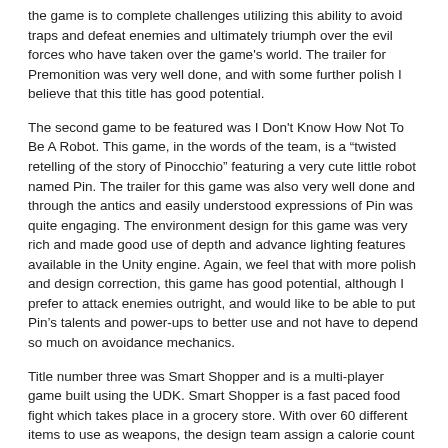the game is to complete challenges utilizing this ability to avoid traps and defeat enemies and ultimately triumph over the evil forces who have taken over the game's world. The trailer for Premonition was very well done, and with some further polish I believe that this title has good potential.
The second game to be featured was I Don't Know How Not To Be A Robot. This game, in the words of the team, is a “twisted retelling of the story of Pinocchio” featuring a very cute little robot named Pin. The trailer for this game was also very well done and through the antics and easily understood expressions of Pin was quite engaging. The environment design for this game was very rich and made good use of depth and advance lighting features available in the Unity engine. Again, we feel that with more polish and design correction, this game has good potential, although I prefer to attack enemies outright, and would like to be able to put Pin’s talents and power-ups to better use and not have to depend so much on avoidance mechanics.
Title number three was Smart Shopper and is a multi-player game built using the UDK. Smart Shopper is a fast paced food fight which takes place in a grocery store. With over 60 different items to use as weapons, the design team assign a calorie count value to the store’s items based on size and weight. The higher your calorie count, the better your game standing. This first-person-thrower was highly imaginative and I believe that the team met their goal of creating a visually silly, easy to play game.